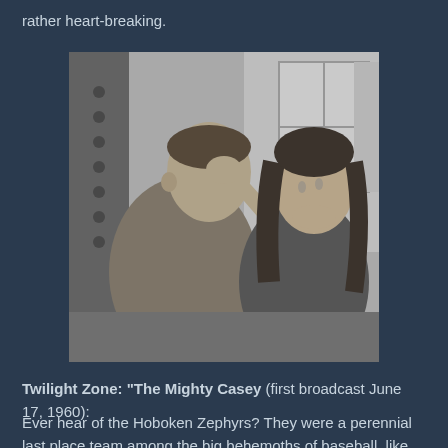rather heart-breaking.
[Figure (photo): Black and white still from a TV show or film showing a man and a woman. The woman is reaching up and touching the man's face with her hand. They appear to be in a room with a window in the background.]
Twilight Zone: "The Mighty Casey (first broadcast June 17, 1960):
Ever hear of the Hoboken Zephyrs?  They were a perennial last place team among the big behemoths of baseball,  like the Yankees and the then still New York Giants.  Jack Warden (plays an manager) to a man  TZ pitted his